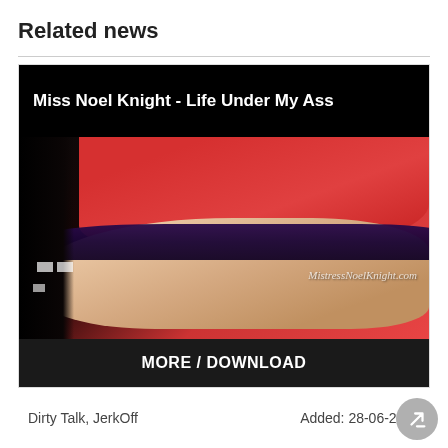Related news
[Figure (screenshot): Video thumbnail card for 'Miss Noel Knight - Life Under My Ass' showing a person in a red top, with a dark background on the left, purple lace underwear visible, and a watermark 'MistressNoelKnight.com'. The card has a black title bar at top and a 'MORE / DOWNLOAD' button bar at the bottom.]
Dirty Talk, JerkOff
Added: 28-06-2022